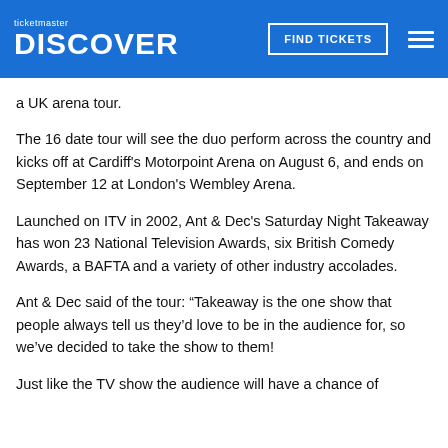ticketmaster DISCOVER
a UK arena tour.
The 16 date tour will see the duo perform across the country and kicks off at Cardiff’s Motorpoint Arena on August 6, and ends on September 12 at London’s Wembley Arena.
Launched on ITV in 2002, Ant & Dec’s Saturday Night Takeaway has won 23 National Television Awards, six British Comedy Awards, a BAFTA and a variety of other industry accolades.
Ant & Dec said of the tour: “Takeaway is the one show that people always tell us they’d love to be in the audience for, so we’ve decided to take the show to them!
Just like the TV show the audience will have a chance of